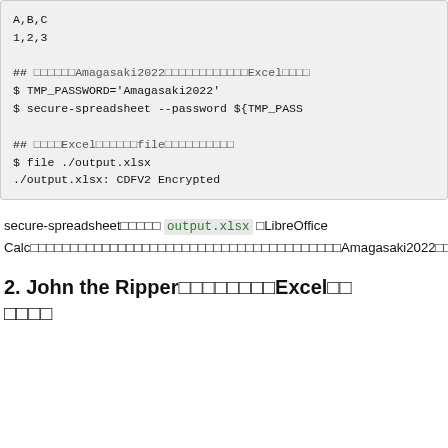A,B,C
1,2,3

## xxxxxxAmagasaki2022xxxxxxxxxxxxExcelxxxx
$ TMP_PASSWORD='Amagasaki2022'
$ secure-spreadsheet --password ${TMP_PASS

## xxxxExcelxxxxxxfilexxxxxxxxxx
$ file ./output.xlsx
./output.xlsx: CDFV2 Encrypted
secure-spreadsheetxxxxx output.xlsx xLibreOffice CalcxxxxxxxxxxxxxxxxxxxxxxxxxxxxxxxxxxxxxxxxxxxxxxxxxxxxxxxxxxxxxxxxxxxxxxxxxxxxxxxxxxxxxxxxxxxxxxxxxxxxxxxxxxxxxxxxxxxxxxxxxxxxxxxxxxxxxxxxxxxxxxxxxxxxxxxxxxxxxxxxxxxxxxxxCLIxxxxxxxxxxxxExcelxxxxxxxxxxxxxxxxxxxxxxxxxx
2. John the Ripperxxxxxxxxxxxxxxxxxxxxxxxxxxxxxxxxxxxxxxxxxxxxxxxxxxxxxxxxxxxxxxxxxxxxxxxxxxxxxxxxxxxxxxxxxxxxxxxxxxxxxxxxxxxxxxxxxxxxxxxxxxxxxxxxxx